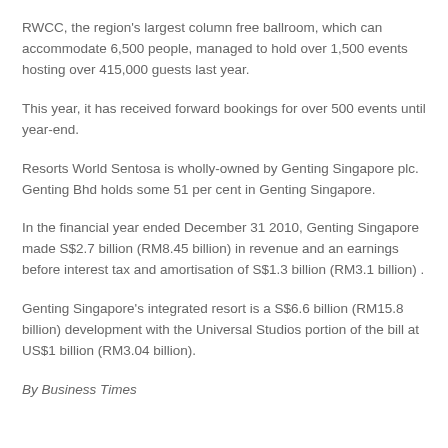RWCC, the region's largest column free ballroom, which can accommodate 6,500 people, managed to hold over 1,500 events hosting over 415,000 guests last year.
This year, it has received forward bookings for over 500 events until year-end.
Resorts World Sentosa is wholly-owned by Genting Singapore plc. Genting Bhd holds some 51 per cent in Genting Singapore.
In the financial year ended December 31 2010, Genting Singapore made S$2.7 billion (RM8.45 billion) in revenue and an earnings before interest tax and amortisation of S$1.3 billion (RM3.1 billion) .
Genting Singapore's integrated resort is a S$6.6 billion (RM15.8 billion) development with the Universal Studios portion of the bill at US$1 billion (RM3.04 billion).
By Business Times